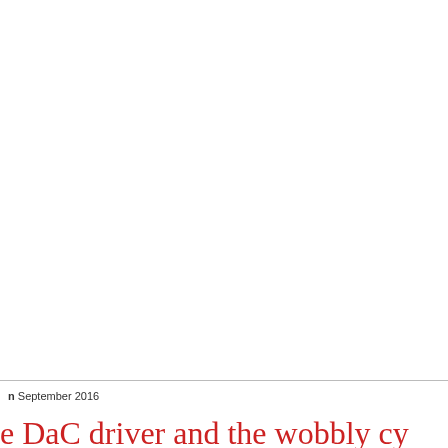n September 2016
e DaC driver and the wobbly cy